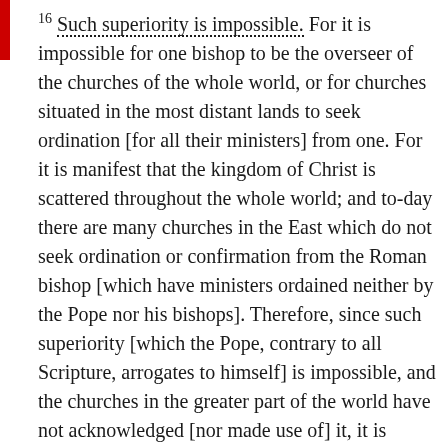16 Such superiority is impossible. For it is impossible for one bishop to be the overseer of the churches of the whole world, or for churches situated in the most distant lands to seek ordination [for all their ministers] from one. For it is manifest that the kingdom of Christ is scattered throughout the whole world; and to-day there are many churches in the East which do not seek ordination or confirmation from the Roman bishop [which have ministers ordained neither by the Pope nor his bishops]. Therefore, since such superiority [which the Pope, contrary to all Scripture, arrogates to himself] is impossible, and the churches in the greater part of the world have not acknowledged [nor made use of] it, it is sufficiently apparent that it was not instituted [by Christ, and does not spring from divine law].